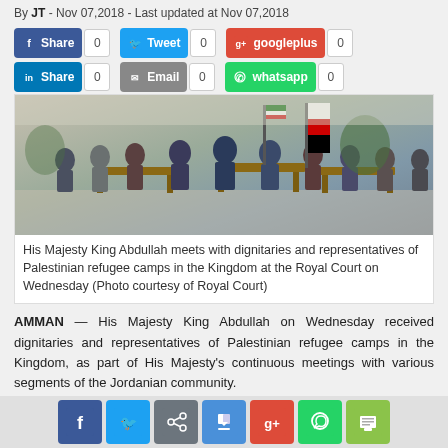By JT - Nov 07,2018 - Last updated at Nov 07,2018
[Figure (infographic): Social share buttons: Facebook Share 0, Tweet 0, googleplus 0, LinkedIn Share 0, Email 0, whatsapp 0]
[Figure (photo): His Majesty King Abdullah meets with dignitaries and representatives of Palestinian refugee camps in the Kingdom at the Royal Court on Wednesday]
His Majesty King Abdullah meets with dignitaries and representatives of Palestinian refugee camps in the Kingdom at the Royal Court on Wednesday (Photo courtesy of Royal Court)
AMMAN — His Majesty King Abdullah on Wednesday received dignitaries and representatives of Palestinian refugee camps in the Kingdom, as part of His Majesty's continuous meetings with various segments of the Jordanian community.
[Figure (infographic): Bottom social share icon bar: Facebook, Twitter, share, download, Google+, WhatsApp, print]